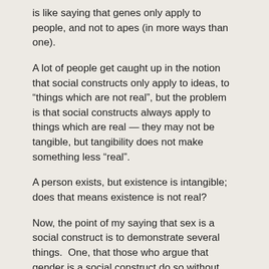is like saying that genes only apply to people, and not to apes (in more ways than one).
A lot of people get caught up in the notion that social constructs only apply to ideas, to “things which are not real”, but the problem is that social constructs always apply to things which are real — they may not be tangible, but tangibility does not make something less “real”.
A person exists, but existence is intangible; does that means existence is not real?
Now, the point of my saying that sex is a social construct is to demonstrate several things.  One, that those who argue that gender is a social construct do so without understanding what it is they are talking about — they are usually stating their ignorance and incompetence, and if you are going to give them any credence, then wouldn’t you expect them to know what they are talking about?
Another is based in a different aspect of understanding what social